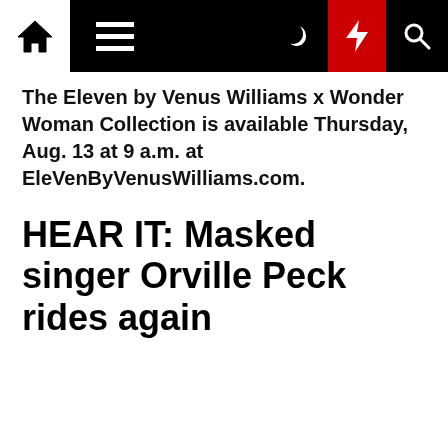Navigation bar with home, menu, moon, lightning, and search icons
The Eleven by Venus Williams x Wonder Woman Collection is available Thursday, Aug. 13 at 9 a.m. at EleVenByVenusWilliams.com.
HEAR IT: Masked singer Orville Peck rides again